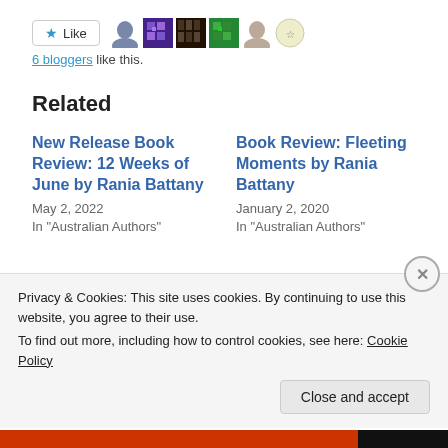[Figure (other): Like button with star icon and 6 blogger avatar thumbnails]
6 bloggers like this.
Related
New Release Book Review: 12 Weeks of June by Rania Battany
May 2, 2022
In "Australian Authors"
Book Review: Fleeting Moments by Rania Battany
January 2, 2020
In "Australian Authors"
Privacy & Cookies: This site uses cookies. By continuing to use this website, you agree to their use.
To find out more, including how to control cookies, see here: Cookie Policy